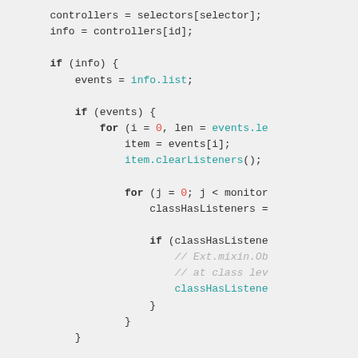[Figure (screenshot): Code snippet showing JavaScript with syntax highlighting. Contains controllers/selectors assignment, nested if/for loops iterating over events and items with clearListeners calls, classHasListeners checks with comments, and a delete statement.]